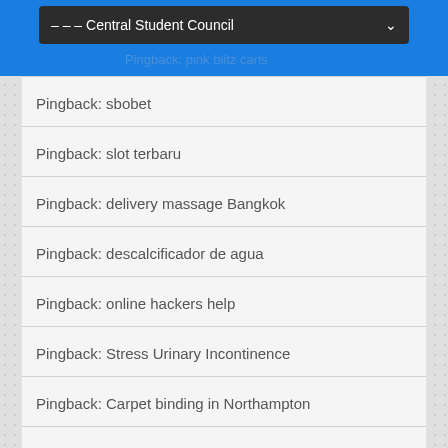[Figure (screenshot): Blue header bar with dark dropdown menu showing '– – – Central Student Council' with a chevron arrow]
Pingback: pink blitz carts
Pingback: sbobet
Pingback: slot terbaru
Pingback: delivery massage Bangkok
Pingback: descalcificador de agua
Pingback: online hackers help
Pingback: Stress Urinary Incontinence
Pingback: Carpet binding in Northampton
Pingback: macau88id
Pingback: